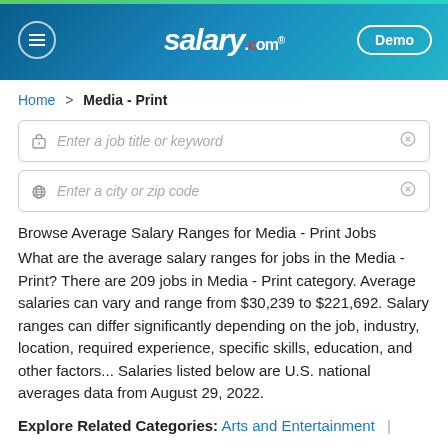salary.com — Demo
Home > Media - Print
Enter a job title or keyword
Enter a city or zip code
Browse Average Salary Ranges for Media - Print Jobs
What are the average salary ranges for jobs in the Media - Print? There are 209 jobs in Media - Print category. Average salaries can vary and range from $30,239 to $221,692. Salary ranges can differ significantly depending on the job, industry, location, required experience, specific skills, education, and other factors... Salaries listed below are U.S. national averages data from August 29, 2022.
Explore Related Categories: Arts and Entertainment |